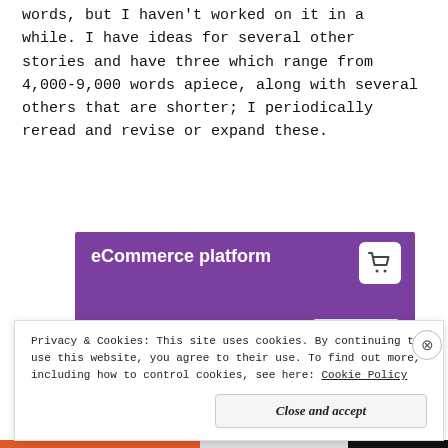words, but I haven't worked on it in a while. I have ideas for several other stories and have three which range from 4,000-9,000 words apiece, along with several others that are shorter; I periodically reread and revise or expand these.
[Figure (screenshot): eCommerce platform advertisement banner with purple background, shopping cart icon, 'Start a new store' button, and typographic interface elements]
Privacy & Cookies: This site uses cookies. By continuing to use this website, you agree to their use. To find out more, including how to control cookies, see here: Cookie Policy
Close and accept